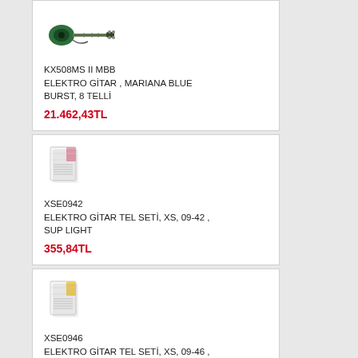[Figure (illustration): Electric guitar icon, dark green/teal color with cable, top-down side view]
KX508MS II MBB
ELEKTRO GİTAR , MARIANA BLUE BURST, 8 TELLİ
21.462,43TL
[Figure (illustration): Guitar strings set packaging, white/light envelope with pink accent]
XSE0942
ELEKTRO GİTAR TEL SETİ, XS, 09-42 , SUP LIGHT
355,84TL
[Figure (illustration): Guitar strings set packaging, white/light envelope with yellow accent]
XSE0946
ELEKTRO GİTAR TEL SETİ, XS, 09-46 , SUP LIGHT
355,84TL